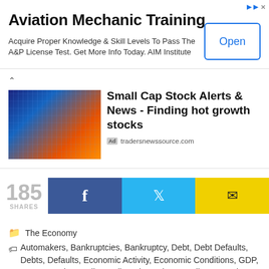[Figure (screenshot): Advertisement banner for Aviation Mechanic Training with an Open button]
[Figure (screenshot): Advertisement card for Small Cap Stock Alerts & News - Finding hot growth stocks from tradersnewssource.com with stock market image]
185 SHARES
The Economy
Automakers, Bankruptcies, Bankruptcy, Debt, Debt Defaults, Debts, Defaults, Economic Activity, Economic Conditions, GDP, GDP Growth, Retail, Retail Bankruptcies, Retail Stores, The U.S. Economy, U.S.